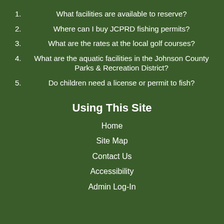1. What facilities are available to reserve?
2. Where can I buy JCPRD fishing permits?
3. What are the rates at the local golf courses?
4. What are the aquatic facilities in the Johnson County Parks & Recreation District?
5. Do children need a license or permit to fish?
Using This Site
Home
Site Map
Contact Us
Accessibility
Admin Log-In